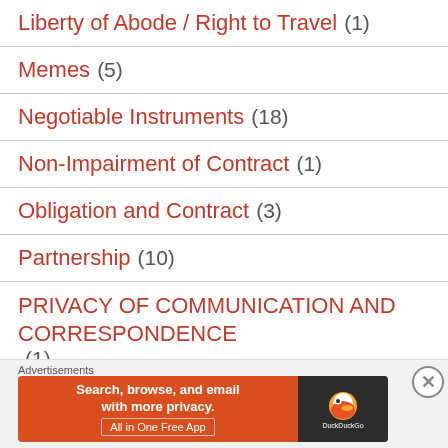Liberty of Abode / Right to Travel (1)
Memes (5)
Negotiable Instruments (18)
Non-Impairment of Contract (1)
Obligation and Contract (3)
Partnership (10)
PRIVACY OF COMMUNICATION AND CORRESPONDENCE (1)
Problem Areas In Legal Ethics (8)
[Figure (other): DuckDuckGo advertisement banner: Search, browse, and email with more privacy. All in One Free App. DuckDuckGo logo on dark background.]